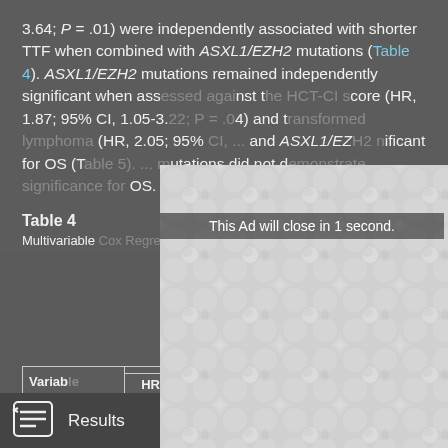3.64; P = .01) were independently associated with shorter TTF when combined with ASXL1/EZH2 mutations (Table 4). ASXL1/EZH2 mutations remained independently significant when assessed against the HCT-CI score (HR, 1.87; 95% CI, 1.05-3.22; P = .04) and transformed lymphoma (HR, 2.05; 95% ... and ASXL1/EZH2 ... significant for OS (T... utations did not d... OS.
Table 4
Multivariable...
| Variable | HR | 95% | P | HR | 95% | P |
| --- | --- | --- | --- | --- | --- | --- |
[Figure (other): Advertisement overlay with close button (X) and text 'This Ad will close in 1 second.' overlaying the document content. The ad shows a grey and white circular pattern background.]
Results